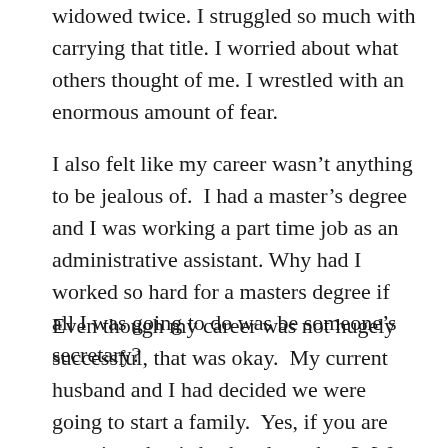widowed twice. I struggled so much with carrying that title. I worried about what others thought of me. I wrestled with an enormous amount of fear.
I also felt like my career wasn't anything to be jealous of.  I had a master's degree and I was working a part time job as an administrative assistant. Why had I worked so hard for a masters degree if all I was going to do was be someone's secretary?
Even though my career was not hugely successful, that was okay.  My current husband and I had decided we were going to start a family.  Yes, if you are counting, that is husband number 3. We had been trying to get pregnant for two years but had not been successful.  The fact that month after month the tests were negative also